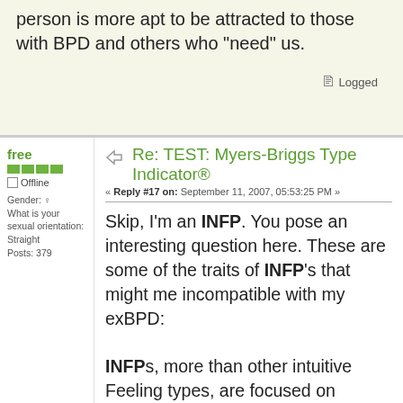person is more apt to be attracted to those with BPD and others who "need" us.
Logged
Re: TEST: Myers-Briggs Type Indicator®
« Reply #17 on: September 11, 2007, 05:53:25 PM »
Skip, I'm an INFP. You pose an interesting question here. These are some of the traits of INFP's that might me incompatible with my exBPD:
INFPs, more than other intuitive Feeling types, are focused on making the world a better place for people. Their primary goal is to